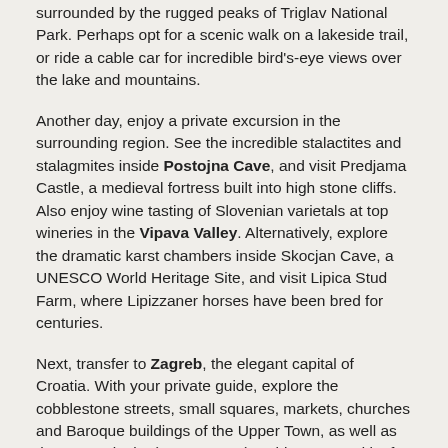surrounded by the rugged peaks of Triglav National Park. Perhaps opt for a scenic walk on a lakeside trail, or ride a cable car for incredible bird's-eye views over the lake and mountains.
Another day, enjoy a private excursion in the surrounding region. See the incredible stalactites and stalagmites inside Postojna Cave, and visit Predjama Castle, a medieval fortress built into high stone cliffs. Also enjoy wine tasting of Slovenian varietals at top wineries in the Vipava Valley. Alternatively, explore the dramatic karst chambers inside Skocjan Cave, a UNESCO World Heritage Site, and visit Lipica Stud Farm, where Lipizzaner horses have been bred for centuries.
Next, transfer to Zagreb, the elegant capital of Croatia. With your private guide, explore the cobblestone streets, small squares, markets, churches and Baroque buildings of the Upper Town, as well as the Secessionist (Art Nouveau) architecture and leafy parks of the Lower Town. During leisure time, browse local shops, sit at local cafes and stroll through leafy city parks. Also enjoy a private excursion to the rural Zagorje region to visit Trakoscan Castle, dine on regional specialties at a local tavern, and sample local wines.
En route to Split, visit Plitvice Lakes National Park, a beautiful region of turquoise lakes and cascading waterfalls among forested